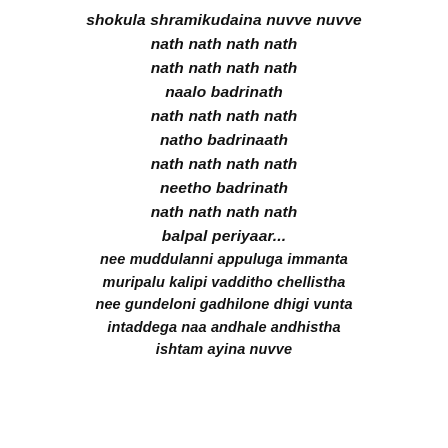shokula shramikudaina nuvve nuvve
nath nath nath nath
nath nath nath nath
naalo badrinath
nath nath nath nath
natho badrinaath
nath nath nath nath
neetho badrinath
nath nath nath nath
balpal periyaar...
nee muddulanni appuluga immanta
muripalu kalipi vadditho chellistha
nee gundeloni gadhilone dhigi vunta
intaddega naa andhale andhistha
ishtam ayina nuvve